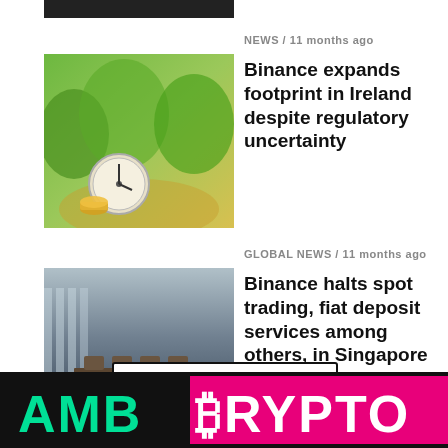[Figure (photo): Partial dark image at top]
NEWS / 11 months ago
Binance expands footprint in Ireland despite regulatory uncertainty
[Figure (photo): Green nature scene with alarm clock and coins]
GLOBAL NEWS / 11 months ago
Binance halts spot trading, fiat deposit services among others, in Singapore
[Figure (photo): Conference room with chairs and large windows]
MORE POSTS
Powered by crypto.com
[Figure (logo): AMB Crypto logo on dark background — partial view at bottom]